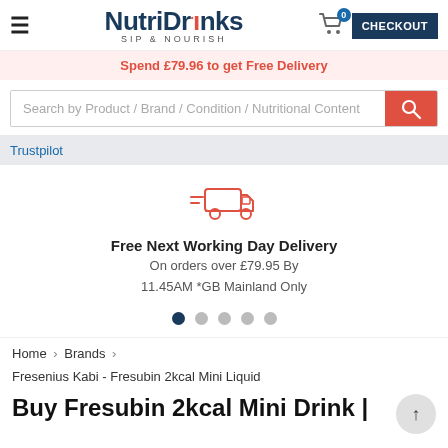NutriDrinks SIP & NOURISH — Checkout
Spend £79.96 to get Free Delivery
Search by Product / Brand / Condition / Nutritional Content
Trustpilot
[Figure (illustration): Red outline delivery truck icon]
Free Next Working Day Delivery
On orders over £79.95 By
11.45AM *GB Mainland Only
Home > Brands > Fresenius Kabi - Fresubin 2kcal Mini Liquid
Buy Fresubin 2kcal Mini Drink |